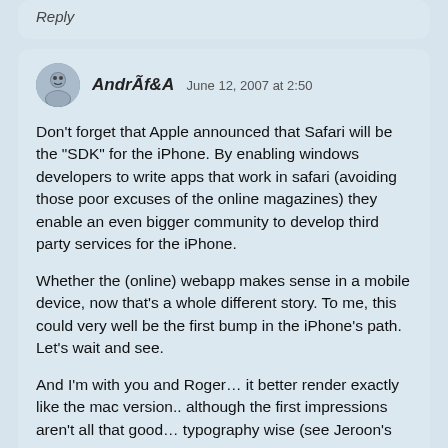Reply
AndrÃf&A   June 12, 2007 at 2:50
Don't forget that Apple announced that Safari will be the "SDK" for the iPhone. By enabling windows developers to write apps that work in safari (avoiding those poor excuses of the online magazines) they enable an even bigger community to develop third party services for the iPhone.
Whether the (online) webapp makes sense in a mobile device, now that's a whole different story. To me, this could very well be the first bump in the iPhone's path. Let's wait and see.
And I'm with you and Roger… it better render exactly like the mac version.. although the first impressions aren't all that good… typography wise (see Jeroon's